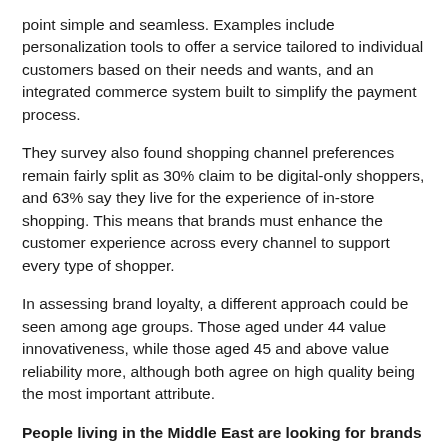point simple and seamless. Examples include personalization tools to offer a service tailored to individual customers based on their needs and wants, and an integrated commerce system built to simplify the payment process.
They survey also found shopping channel preferences remain fairly split as 30% claim to be digital-only shoppers, and 63% say they live for the experience of in-store shopping. This means that brands must enhance the customer experience across every channel to support every type of shopper.
In assessing brand loyalty, a different approach could be seen among age groups. Those aged under 44 value innovativeness, while those aged 45 and above value reliability more, although both agree on high quality being the most important attribute.
People living in the Middle East are looking for brands that represent their values
It is important for brands to use imagery and language to represent the audience, with 90% of respondents agreeing that brands should make a conscious effort to ensure their customers feel represented in their marketing and communications. Almost half of the respondents also …